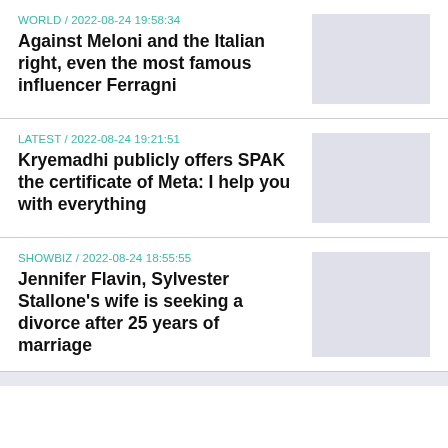WORLD / 2022-08-24 19:58:34
Against Meloni and the Italian right, even the most famous influencer Ferragni
LATEST / 2022-08-24 19:21:51
Kryemadhi publicly offers SPAK the certificate of Meta: I help you with everything
SHOWBIZ / 2022-08-24 18:55:55
Jennifer Flavin, Sylvester Stallone's wife is seeking a divorce after 25 years of marriage